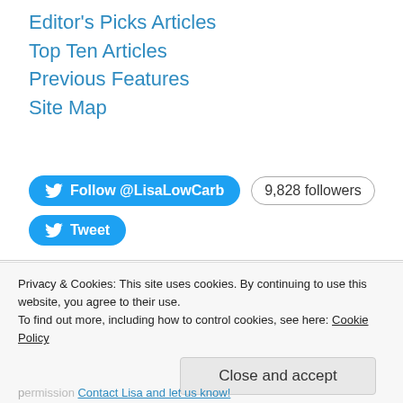Editor's Picks Articles
Top Ten Articles
Previous Features
Site Map
[Figure (other): Twitter Follow button for @LisaLowCarb showing 9,828 followers, and a Tweet button]
Privacy & Cookies: This site uses cookies. By continuing to use this website, you agree to their use.
To find out more, including how to control cookies, see here: Cookie Policy
Close and accept
permission Contact Lisa and let us know!